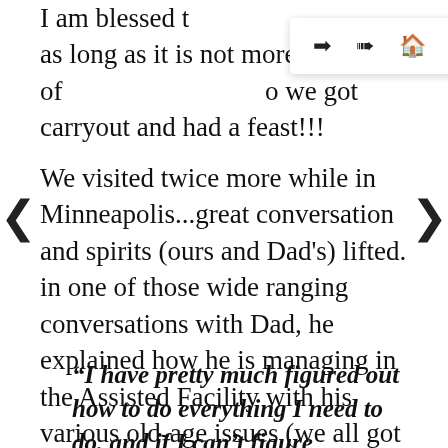I am blessed t[...], as long as it is not more of[...] o we got carryout and had a feast!!!
We visited twice more while in Minneapolis...great conversation and spirits (ours and Dad's) lifted.  in one of those wide ranging conversations with Dad, he explained how he is managing in the Assisted Facility with his various old-age issues (we all got 'em) and throughout lockdown. I thought I would share what he said, because we could all apply this to our own lives. Dad said,
“I have pretty much figured out how to do everything I need to do, and if I can’t figure something out in my current reality, I wonder how much I really need to do it?”